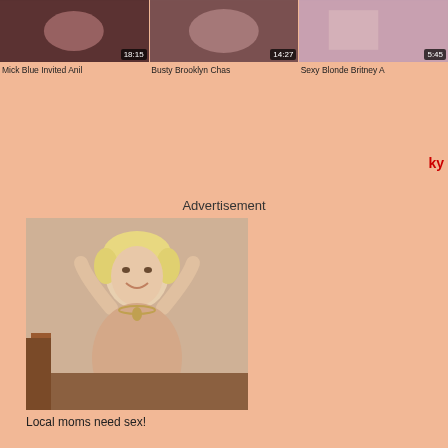[Figure (photo): Video thumbnail 1 with duration badge 18:15]
[Figure (photo): Video thumbnail 2 with duration badge 14:27]
[Figure (photo): Video thumbnail 3 with duration badge 5:45]
Mick Blue Invited Anil
Busty Brooklyn Chas
Sexy Blonde Britney A
ky
Advertisement
[Figure (photo): Advertisement photo of older blonde woman]
Local moms need sex!